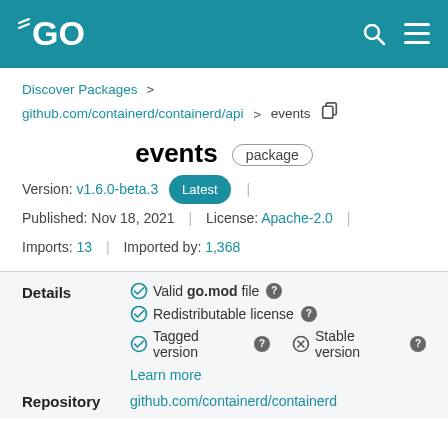Go (golang.org) package page header with logo, search and menu icons
Discover Packages > github.com/containerd/containerd/api > events
events package
Version: v1.6.0-beta.3 Latest | Published: Nov 18, 2021 | License: Apache-2.0 | Imports: 13 | Imported by: 1,368
Details
Valid go.mod file
Redistributable license
Tagged version
Stable version
Learn more
Repository github.com/containerd/containerd